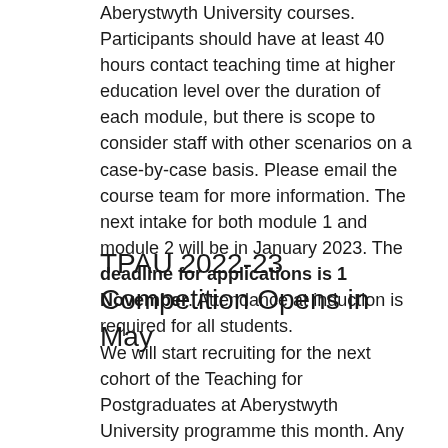Aberystwyth University courses. Participants should have at least 40 hours contact teaching time at higher education level over the duration of each module, but there is scope to consider staff with other scenarios on a case-by-case basis. Please email the course team for more information. The next intake for both module 1 and module 2 will be in January 2023. The deadline for applications is 1 November. Attendance at induction is required for all students.
TPAU 2022-23 Competition Opens in May
We will start recruiting for the next cohort of the Teaching for Postgraduates at Aberystwyth University programme this month. Any interested PGRs who are teaching can apply for a place on